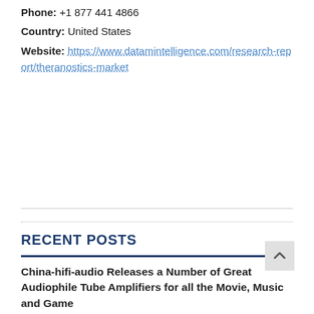Phone: +1 877 441 4866
Country: United States
Website: https://www.datamintelligence.com/research-report/theranostics-market
RECENT POSTS
China-hifi-audio Releases a Number of Great Audiophile Tube Amplifiers for all the Movie, Music and Game